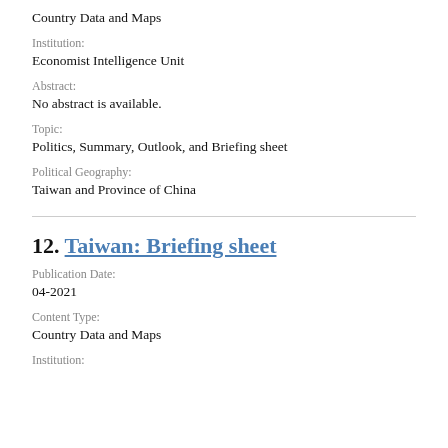Country Data and Maps
Institution:
Economist Intelligence Unit
Abstract:
No abstract is available.
Topic:
Politics, Summary, Outlook, and Briefing sheet
Political Geography:
Taiwan and Province of China
12. Taiwan: Briefing sheet
Publication Date:
04-2021
Content Type:
Country Data and Maps
Institution: